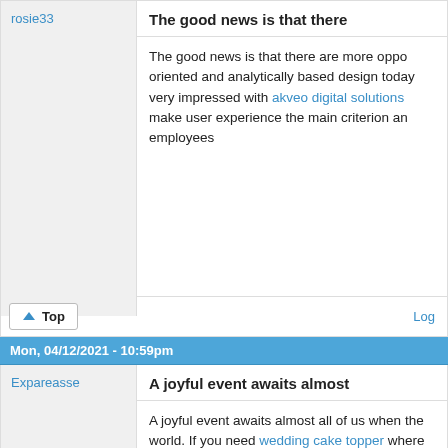rosie33
The good news is that there
The good news is that there are more oppo oriented and analytically based design today very impressed with akveo digital solutions make user experience the main criterion an employees
Top
Log
Mon, 04/12/2021 - 10:59pm
Expareasse
A joyful event awaits almost
A joyful event awaits almost all of us when the world. If you need wedding cake topper where to find them. This is a great site whe everything related to decor.